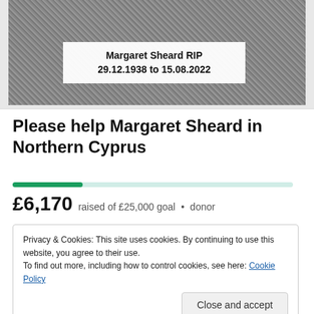[Figure (photo): Black and white photo of a person knitting, cropped at top with a white overlay box showing the name and dates]
Margaret Sheard RIP
29.12.1938 to 15.08.2022
Please help Margaret Sheard in Northern Cyprus
£6,170 raised of £25,000 goal • donor
Privacy & Cookies: This site uses cookies. By continuing to use this website, you agree to their use.
To find out more, including how to control cookies, see here: Cookie Policy
Close and accept